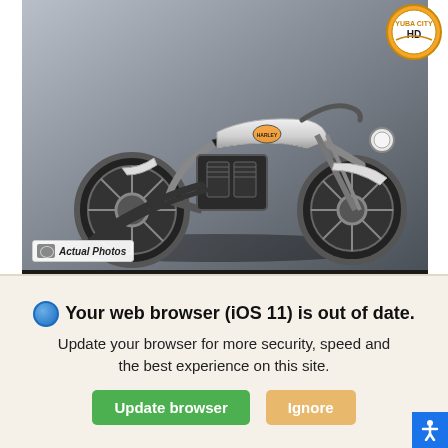[Figure (photo): Side profile photo of a white/silver 2022 Harley-Davidson Iron 883 XL883N motorcycle against a grey metallic background. The motorcycle features a low-slung bobber style with a white fuel tank, black engine and exhaust, and spoke wheels.]
Actual Photos
yubacityhd.com
HARLEY-DAVIDSON OF YUBA CITY
720 W Onstott Frontage Rd, Yuba City, CA 95991
New 2022 Harley-Davidson Iron 883
XL883N Motorcycle
Your web browser (iOS 11) is out of date.
Update your browser for more security, speed and the best experience on this site.
Update browser
Ignore